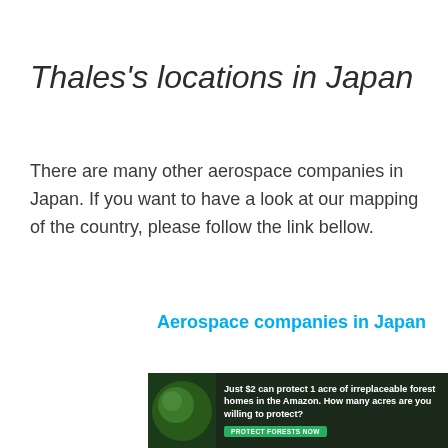Thales's locations in Japan
There are many other aerospace companies in Japan. If you want to have a look at our mapping of the country, please follow the link bellow.
Aerospace companies in Japan
[Figure (other): Advertisement banner: Just $2 can protect 1 acre of irreplaceable forest homes in the Amazon. How many acres are you willing to protect? PROTECT FORESTS NOW]